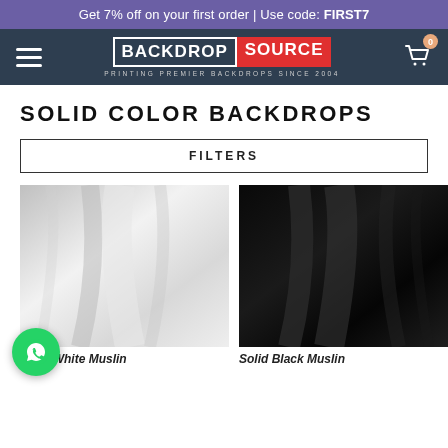Get 7% off on your first order | Use code: FIRST7
[Figure (logo): Backdrop Source logo with hamburger menu and cart icon on dark navy navigation bar]
SOLID COLOR BACKDROPS
FILTERS
[Figure (photo): Solid White Muslin backdrop - white/light grey draped fabric]
[Figure (photo): Solid Black Muslin backdrop - black draped fabric]
Solid White Muslin
Solid Black Muslin